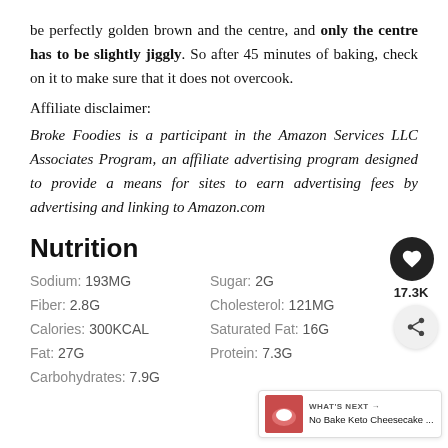be perfectly golden brown and the centre, and only the centre has to be slightly jiggly. So after 45 minutes of baking, check on it to make sure that it does not overcook.
Affiliate disclaimer:
Broke Foodies is a participant in the Amazon Services LLC Associates Program, an affiliate advertising program designed to provide a means for sites to earn advertising fees by advertising and linking to Amazon.com
Nutrition
Sodium: 193MG
Sugar: 2G
Fiber: 2.8G
Cholesterol: 121MG
Calories: 300KCAL
Saturated Fat: 16G
Fat: 27G
Protein: 7.3G
Carbohydrates: 7.9G